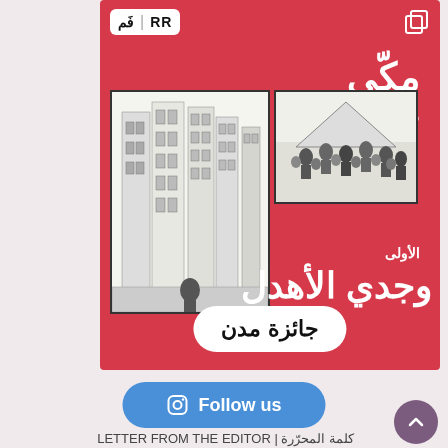[Figure (illustration): Book cover with red background. Shows Arabic text 'مكّي صنعاء' (Makki Sanaa) as title, two black-and-white comic-style illustrations of a Yemeni city. Author name 'الأولى وجدي الأهدل' at bottom. Prize badge 'جائزة مدن' in white rounded rectangle. Top bar has RR and Arabic logo marks.]
Follow us
LETTER FROM THE EDITOR | كلمة المحرّرة